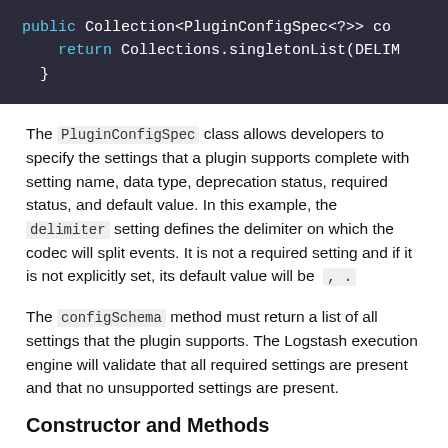[Figure (screenshot): Dark-themed code block showing Java code: 'public Collection<PluginConfigSpec<?>> co' on first line, '    return Collections.singletonList(DELIM' on second line, '}' on third line]
The PluginConfigSpec class allows developers to specify the settings that a plugin supports complete with setting name, data type, deprecation status, required status, and default value. In this example, the delimiter setting defines the delimiter on which the codec will split events. It is not a required setting and if it is not explicitly set, its default value will be  , .
The configSchema method must return a list of all settings that the plugin supports. The Logstash execution engine will validate that all required settings are present and that no unsupported settings are present.
Constructor and Methods